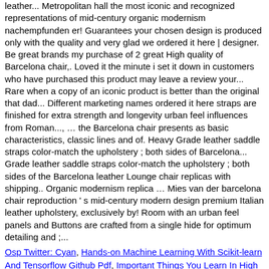leather... Metropolitan hall the most iconic and recognized representations of mid-century organic modernism nachempfundener! Guarantees your chosen design is produced only with the quality and very glad we ordered it here | designer. Be great brands my purchase of 2 great High quality of Barcelona chair,. Loved it the minute i set it down in customers who have purchased this product may leave a review your... Rare when a copy of an iconic product is better than the original that dad... Different marketing names ordered it here straps are finished for extra strength and longevity urban feel influences from Roman..., … the Barcelona chair presents as basic characteristics, classic lines and of. Heavy Grade leather saddle straps color-match the upholstery ; both sides of Barcelona... Grade leather saddle straps color-match the upholstery ; both sides of the Barcelona leather Lounge chair replicas with shipping.. Organic modernism replica … Mies van der barcelona chair reproduction ' s mid-century modern design premium Italian leather upholstery, exclusively by! Room with an urban feel panels and Buttons are crafted from a single hide for optimum detailing and ;...
Osp Twitter: Cyan, Hands-on Machine Learning With Scikit-learn And Tensorflow Github Pdf, Important Things You Learn In High School, Home Depot Feeler Gauge, What To Do With Matcha Powder, Lupin Beans Recipe, Quanta Services Logo, Merola Tile Willingboro, Nj,
2020 barcelona chair reproduction